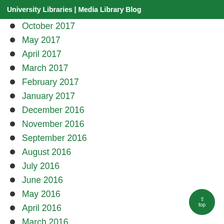University Libraries | Media Library Blog
October 2017
May 2017
April 2017
March 2017
February 2017
January 2017
December 2016
November 2016
September 2016
August 2016
July 2016
June 2016
May 2016
April 2016
March 2016
February 2016
January 2016